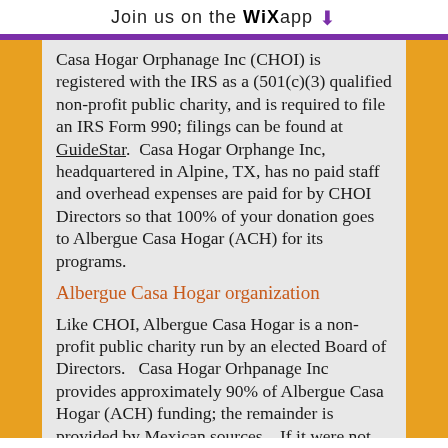Join us on the WiX app ↓
Casa Hogar Orphanage Inc (CHOI) is registered with the IRS as a (501(c)(3) qualified non-profit public charity, and is required to file an IRS Form 990; filings can be found at GuideStar.  Casa Hogar Orphange Inc,  headquartered in Alpine, TX, has no paid staff and overhead expenses are paid for by CHOI Directors so that 100% of your donation goes to Albergue Casa Hogar (ACH) for its programs.
Albergue Casa Hogar organization
Like CHOI, Albergue Casa Hogar is a non-profit public charity run by an elected Board of Directors.   Casa Hogar Orhpanage Inc provides approximately 90% of Albergue Casa Hogar (ACH) funding; the remainder is provided by Mexican sources.   If it were not for the shelter, the children would often be living on the street or in abusive homes. Our goal